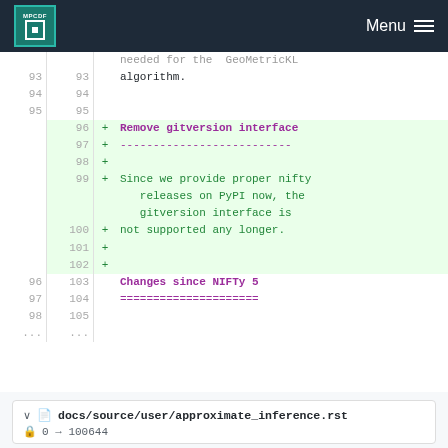MPCDF  Menu
| old | new | sign | code |
| --- | --- | --- | --- |
|  |  |  | needed for the  GeoMetricKL |
| 93 | 93 |  | algorithm. |
| 94 | 94 |  |  |
| 95 | 95 |  |  |
|  | 96 | + | Remove gitversion interface |
|  | 97 | + | ---------------------------- |
|  | 98 | + |  |
|  | 99 | + | Since we provide proper nifty |
|  |  |  | releases on PyPI now, the |
|  |  |  | gitversion interface is |
|  | 100 | + | not supported any longer. |
|  | 101 | + |  |
|  | 102 | + |  |
| 96 | 103 |  | Changes since NIFTy 5 |
| 97 | 104 |  | ===================== |
| 98 | 105 |  |  |
| ... | ... |  |  |
docs/source/user/approximate_inference.rst
0 → 100644